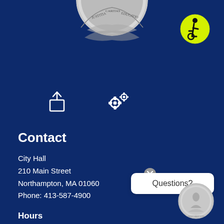[Figure (photo): Massachusetts or Northampton city seal coin, partially visible at top center]
[Figure (logo): Accessibility icon - yellow circle with wheelchair user symbol in black]
[Figure (illustration): Share icon (arrow pointing out of box) and settings/gear icons on dark blue background]
Contact
City Hall
210 Main Street
Northampton, MA 01060
Phone: 413-587-4900
Hours
Monday - Friday
8:30 a.m. - 4:30 p.m.
[Figure (illustration): White speech bubble with 'Questions?' text and close X button]
[Figure (photo): Small Northampton city seal coin at bottom right]